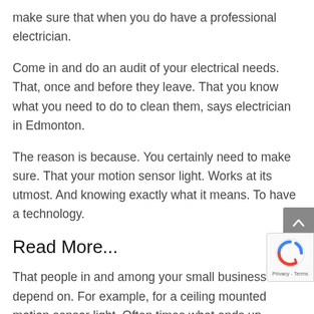make sure that when you do have a professional electrician.
Come in and do an audit of your electrical needs. That, once and before they leave. That you know what you need to do to clean them, says electrician in Edmonton.
The reason is because. You certainly need to make sure. That your motion sensor light. Works at its utmost. And knowing exactly what it means. To have a technology.
Read More...
That people in and among your small business can depend on. For example, for a ceiling mounted motion sensor light. Often times what ends up happening.
Is they are often installed in washrooms. Because of